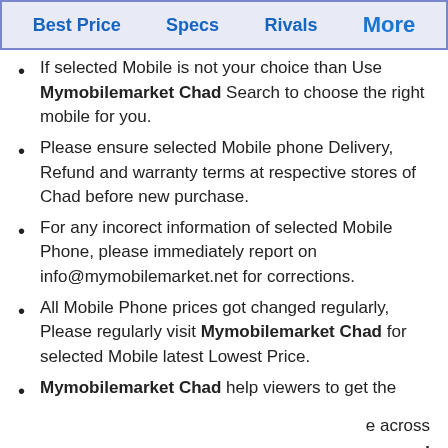Best Price   Specs   Rivals   More
If selected Mobile is not your choice than Use Mymobilemarket Chad Search to choose the right mobile for you.
Please ensure selected Mobile phone Delivery, Refund and warranty terms at respective stores of Chad before new purchase.
For any incorect information of selected Mobile Phone, please immediately report on info@mymobilemarket.net for corrections.
All Mobile Phone prices got changed regularly, Please regularly visit Mymobilemarket Chad for selected Mobile latest Lowest Price.
Mymobilemarket Chad help viewers to get the [rest cut off] e across : and [partial] ket Chad got